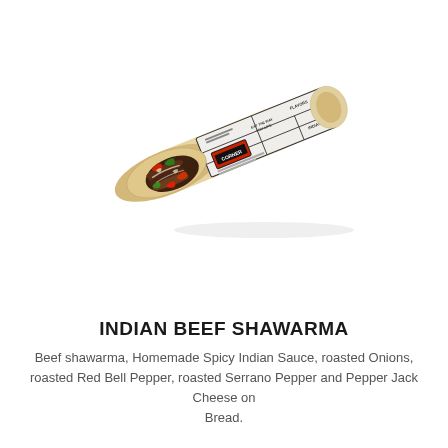[Figure (photo): A beef shawarma wrap partially open at the left end showing meat, bell peppers and vegetables, wrapped in a branded newsprint-style paper with 'Corner' branding and text 'EAT THE WAY YOU LIKE', photographed on a white background at a diagonal angle.]
INDIAN BEEF SHAWARMA
Beef shawarma, Homemade Spicy Indian Sauce, roasted Onions, roasted Red Bell Pepper, roasted Serrano Pepper and Pepper Jack Cheese on Bread.